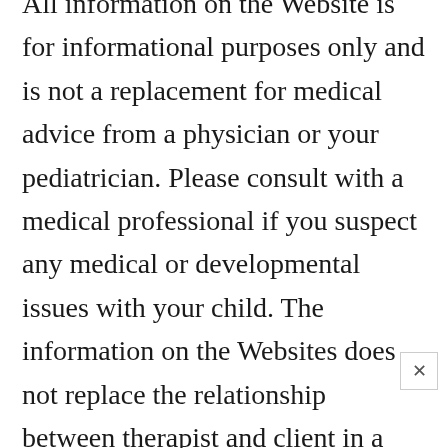All information on the Website is for informational purposes only and is not a replacement for medical advice from a physician or your pediatrician. Please consult with a medical professional if you suspect any medical or developmental issues with your child. The information on the Websites does not replace the relationship between therapist and client in a one-on-one treatment session with an individualized treatment plan based on their professional evaluation. The information provided on the Website is provided “as is” without any representations or warranties, express or implied.